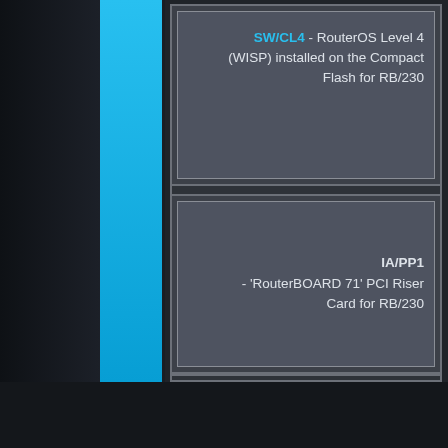SW/CL4 - RouterOS Level 4 (WISP) installed on the Compact Flash for RB/230
IA/PP1 - 'RouterBOARD 71' PCI Riser Card for RB/230